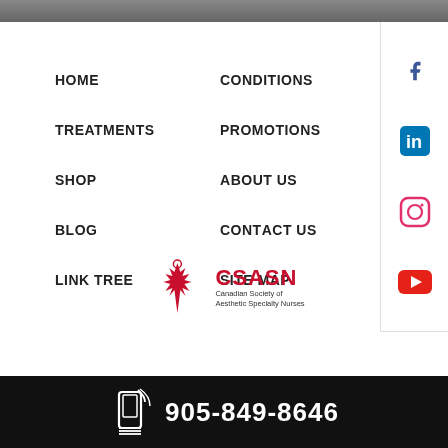HOME
TREATMENTS
SHOP
BLOG
LINK TREE
CONDITIONS
PROMOTIONS
ABOUT US
CONTACT US
SITE MAP
[Figure (logo): CSASN - Canadian Society of Aesthetic Specialty Nurses logo with red maple leaf]
905-849-8646